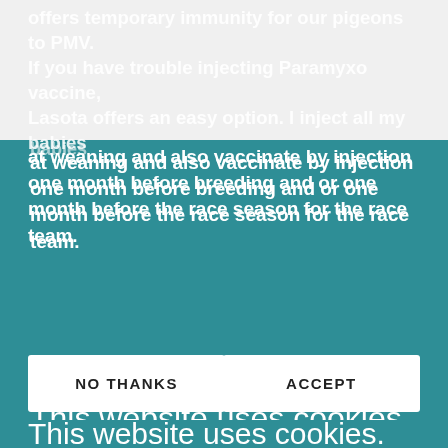offers temporary immunity for our pigeons to PMV. If you have trouble injecting Paramyxo vaccine, Lasota offers an easy option. I inject all my babies at weaning and also vaccinate by injection one month before breeding and or one month before the race season for the race team.
Several times per year I will use Lasota vaccine as
This website uses cookies.
We use cookies to analyze website traffic and optimize your website experience. By accepting our use of cookies, your data will be aggregated with all other user data.
NO THANKS
ACCEPT